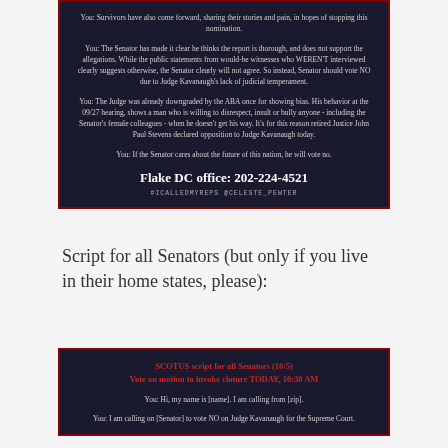[Figure (screenshot): Dark-background card with red border showing phone call script text for Senator Flake's DC office with phone number 202-224-4521 and hashtag #ICALLEDMYREPS @CELESTE_PEWTER]
Script for all Senators (but only if you live in their home states, please):
[Figure (screenshot): Dark-background card with red border showing SCOTUS script for all Senators (10/5), Vote on motion to invoke cloture TODAY, 10:30 AM, with call script text]